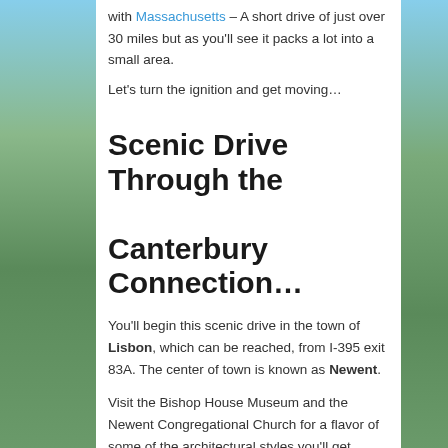with Massachusetts – A short drive of just over 30 miles but as you'll see it packs a lot into a small area.
Let's turn the ignition and get moving...
Scenic Drive Through the Canterbury Connection...
You'll begin this scenic drive in the town of Lisbon, which can be reached, from I-395 exit 83A. The center of town is known as Newent.
Visit the Bishop House Museum and the Newent Congregational Church for a flavor of some of the architectural styles you'll get familiar with during scenic